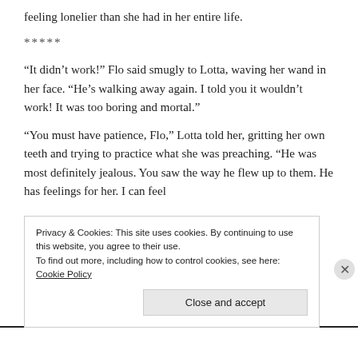feeling lonelier than she had in her entire life.
*****
“It didn’t work!” Flo said smugly to Lotta, waving her wand in her face. “He’s walking away again. I told you it wouldn’t work! It was too boring and mortal.”
“You must have patience, Flo,” Lotta told her, gritting her own teeth and trying to practice what she was preaching. “He was most definitely jealous. You saw the way he flew up to them. He has feelings for her. I can feel
Privacy & Cookies: This site uses cookies. By continuing to use this website, you agree to their use.
To find out more, including how to control cookies, see here: Cookie Policy
Close and accept